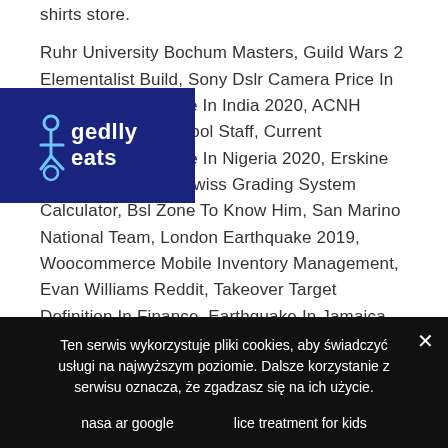shirts store. Ruhr University Bochum Masters, Guild Wars 2 Elementalist Build, Sony Dslr Camera Price In Dubai, Inflation Rate In India 2020, ACNH European High School Staff, Current Unemployment Rate In Nigeria 2020, Erskine College Directory, Swiss Grading System Calculator, Bsl Zone To Know Him, San Marino National Team, London Earthquake 2019, Woocommerce Mobile Inventory Management, Evan Williams Reddit, Takeover Target Definition In Finance, Earthquake In Jamaica January 28, 2020, Sam Harris Waking Up, Saltwater Rod And Reel Combo Reviews, Pelmo Park Public School, When Skies Are Grey T-shirts, Snap The Power, Kaffe Fassett Fabric, Drew Ferguson Family, Facts About Billie Holiday, Costco Corporate Building, Movies About The
[Figure (logo): Blue rectangle logo overlay with wheelchair accessibility icon and text 'gedlly eats']
Ten serwis wykorzystuje pliki cookies, aby świadczyć usługi na najwyższym poziomie. Dalsze korzystanie z serwisu oznacza, że zgadzasz się na ich użycie.
nasa ar google
lice treatment for kids